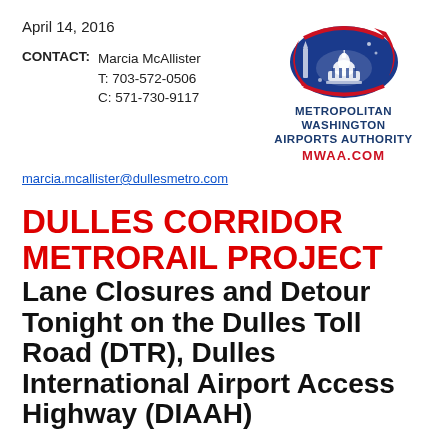April 14, 2016
[Figure (logo): Metropolitan Washington Airports Authority logo with dome graphic and swoosh, text: METROPOLITAN WASHINGTON AIRPORTS AUTHORITY, MWAA.COM]
CONTACT:   Marcia McAllister
T: 703-572-0506
C: 571-730-9117
marcia.mcallister@dullesmetro.com
DULLES CORRIDOR METRORAIL PROJECT
Lane Closures and Detour Tonight on the Dulles Toll Road (DTR), Dulles International Airport Access Highway (DIAAH) and Centreville Road